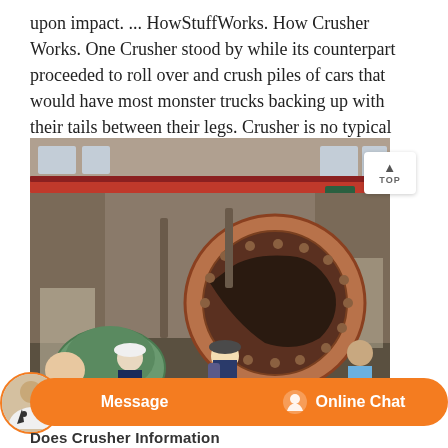upon impact. ... HowStuffWorks. How Crusher Works. One Crusher stood by while its counterpart proceeded to roll over and crush piles of cars that would have most monster trucks backing up with their tails between their legs. Crusher is no typical truck.
[Figure (photo): Industrial interior showing people examining a large round industrial crusher or ball mill machine inside a factory building with a red overhead crane.]
Does Crusher Information